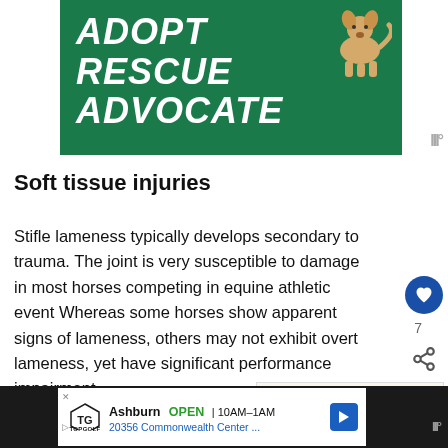[Figure (photo): Green banner with white bold italic text reading ADOPT RESCUE ADVOCATE with a dog illustration in top right corner]
Soft tissue injuries
Stifle lameness typically develops secondary to trauma. The joint is very susceptible to damage in most horses competing in equine athletic event Whereas some horses show apparent signs of lameness, others may not exhibit overt lameness, yet have significant performance impairment...
[Figure (other): Advertisement banner for Topgolf Ashburn showing OPEN 10AM-1AM, 20356 Commonwealth Center...]